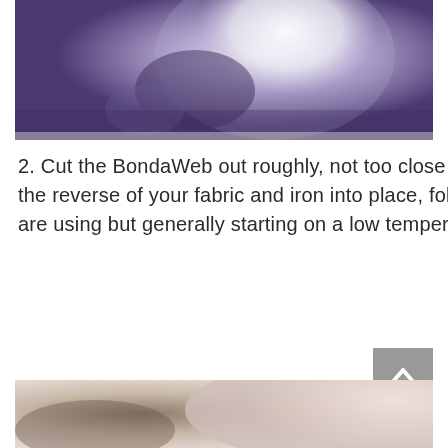[Figure (photo): Blurred photo with purple/dark background and white circular object, top portion of page]
2. Cut the BondaWeb out roughly, not too close to the lines. Place the shiny side onto the reverse of your fabric and iron into place, follow the instructions for the product you are using but generally starting on a low temperature with no steam is your best bet.
[Figure (photo): Blurred photo at bottom of page showing fabric/textile material in beige and pink tones]